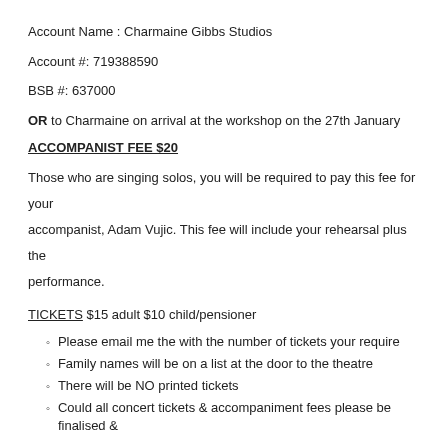Account Name : Charmaine Gibbs Studios
Account #: 719388590
BSB #: 637000
OR to Charmaine on arrival at the workshop on the 27th January
ACCOMPANIST FEE $20
Those who are singing solos, you will be required to pay this fee for your accompanist, Adam Vujic. This fee will include your rehearsal plus the performance.
TICKETS $15 adult $10 child/pensioner
Please email me the with the number of tickets your require
Family names will be on a list at the door to the theatre
There will be NO printed tickets
Could all concert tickets & accompaniment fees please be finalised &